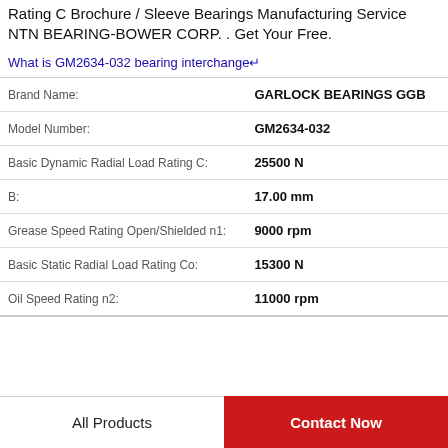Rating C Brochure / Sleeve Bearings Manufacturing Service NTN BEARING-BOWER CORP. . Get Your Free.
What is GM2634-032 bearing interchange↵
| Property | Value |
| --- | --- |
| Brand Name: | GARLOCK BEARINGS GGB |
| Model Number: | GM2634-032 |
| Basic Dynamic Radial Load Rating C: | 25500 N |
| B: | 17.00 mm |
| Grease Speed Rating Open/Shielded n1: | 9000 rpm |
| Basic Static Radial Load Rating Co: | 15300 N |
| Oil Speed Rating n2: | 11000 rpm |
All Products
Contact Now